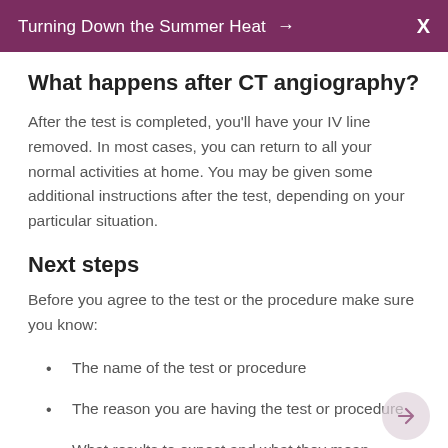Turning Down the Summer Heat →  X
What happens after CT angiography?
After the test is completed, you'll have your IV line removed. In most cases, you can return to all your normal activities at home. You may be given some additional instructions after the test, depending on your particular situation.
Next steps
Before you agree to the test or the procedure make sure you know:
The name of the test or procedure
The reason you are having the test or procedure
What results to expect and what they mean